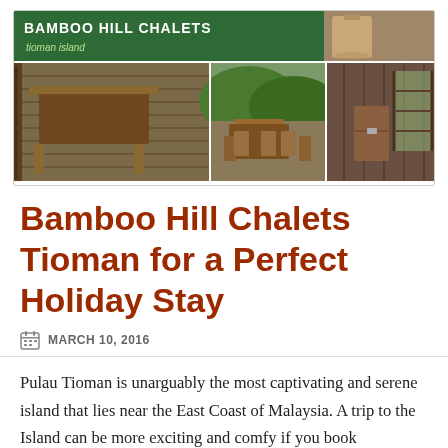[Figure (photo): Bamboo Hill Chalets Tioman Island banner image showing green header with logo text, and three photos below of wooden deck furniture, outdoor seating area with jungle hills, and chalet interior with wooden panels]
Bamboo Hill Chalets Tioman for a Perfect Holiday Stay
MARCH 10, 2016
Pulau Tioman is unarguably the most captivating and serene island that lies near the East Coast of Malaysia. A trip to the Island can be more exciting and comfy if you book accommodation in the peaceful Tioman beach